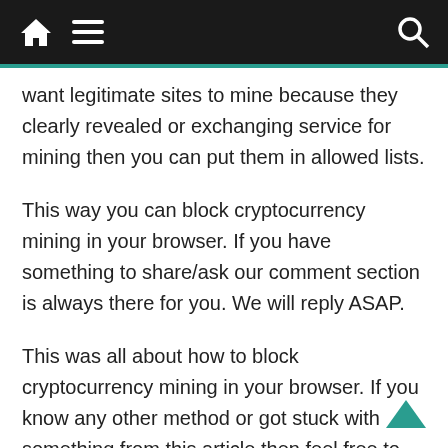Navigation bar with home icon, menu icon, and search icon
want legitimate sites to mine because they clearly revealed or exchanging service for mining then you can put them in allowed lists.
This way you can block cryptocurrency mining in your browser. If you have something to share/ask our comment section is always there for you. We will reply ASAP.
This was all about how to block cryptocurrency mining in your browser. If you know any other method or got stuck with something from this article then feel free to reach to us via the